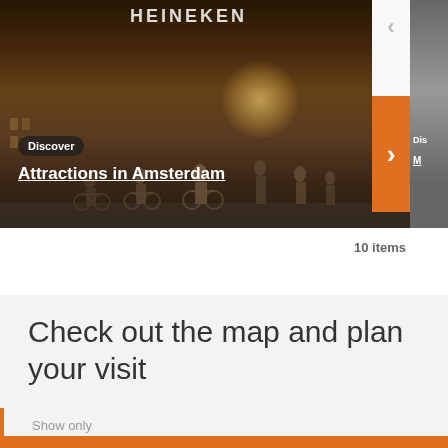[Figure (screenshot): Hero image showing Amsterdam street scene with cyclists in front of the Heineken building, with navigation arrows on the right side. A dark badge reads 'Discover' and below it underlined white text reads 'Attractions in Amsterdam'.]
10 items
Check out the map and plan your visit
Show only